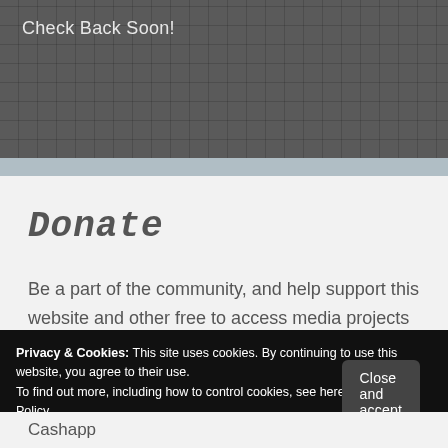Check Back Soon!
Donate
Be a part of the community, and help support this website and other free to access media projects by Jennifer Juan, including videos, podcasts and written poetry collections.
Privacy & Cookies: This site uses cookies. By continuing to use this website, you agree to their use.
To find out more, including how to control cookies, see here: Our Cookie Policy
Close and accept
Cashapp